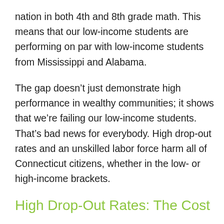nation in both 4th and 8th grade math. This means that our low-income students are performing on par with low-income students from Mississippi and Alabama.
The gap doesn't just demonstrate high performance in wealthy communities; it shows that we're failing our low-income students. That's bad news for everybody. High drop-out rates and an unskilled labor force harm all of Connecticut citizens, whether in the low- or high-income brackets.
High Drop-Out Rates: The Cost
Many students who struggle in school wind up dropping out, and each class of high school dropouts costs the state $155 million more in healthcare